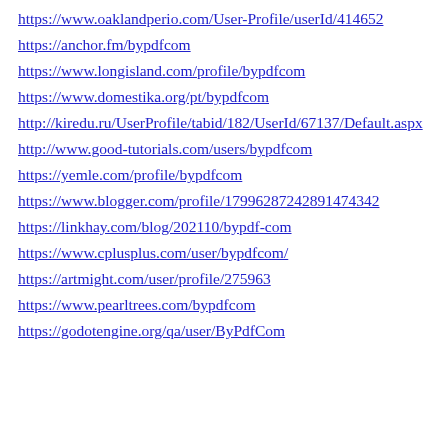https://www.oaklandperio.com/User-Profile/userId/414652
https://anchor.fm/bypdfcom
https://www.longisland.com/profile/bypdfcom
https://www.domestika.org/pt/bypdfcom
http://kiredu.ru/UserProfile/tabid/182/UserId/67137/Default.aspx
http://www.good-tutorials.com/users/bypdfcom
https://yemle.com/profile/bypdfcom
https://www.blogger.com/profile/17996287242891474342
https://linkhay.com/blog/202110/bypdf-com
https://www.cplusplus.com/user/bypdfcom/
https://artmight.com/user/profile/275963
https://www.pearltrees.com/bypdfcom
https://godotengine.org/qa/user/ByPdfCom